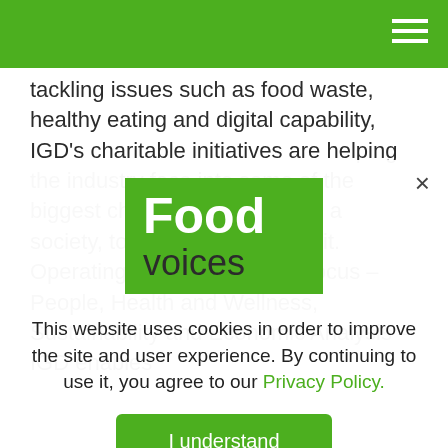tackling issues such as food waste, healthy eating and digital capability, IGD's charitable initiatives are helping the industry face into some of the biggest challenges we face as a society, to deliver public benefit. Operating with four areas of focus – People, Health and Wellness, Sustainability and Economic Analysis – IGD enables
[Figure (logo): Food Voices logo: green rectangle with 'Food' in white bold text and 'voices' in dark text below]
This website uses cookies in order to improve the site and user experience. By continuing to use it, you agree to our Privacy Policy.
I understand